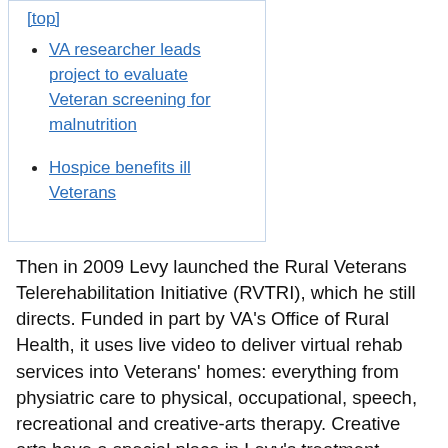VA researcher leads project to evaluate Veteran screening for malnutrition
Hospice benefits ill Veterans
Then in 2009 Levy launched the Rural Veterans Telerehabilitation Initiative (RVTRI), which he still directs. Funded in part by VA's Office of Rural Health, it uses live video to deliver virtual rehab services into Veterans' homes: everything from physiatric care to physical, occupational, speech, recreational and creative-arts therapy. Creative arts have a special place in Levy's treatment repertoire: He is a state champion fiddler and banjo player, and he says he "delights in sharing" his musical talents on hospital units and in patient rooms at the Gainesville VA.